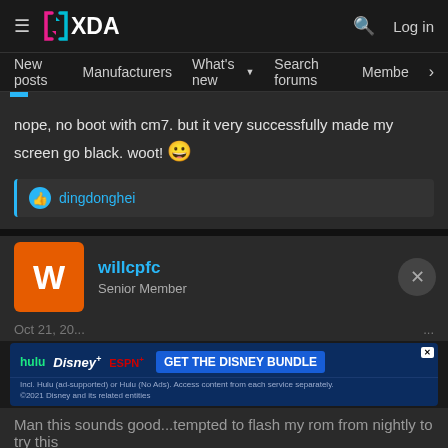XDA Developers — Log in
New posts  Manufacturers  What's new  Search forums  Members  >
nope, no boot with cm7. but it very successfully made my screen go black. woot! 😀
👍 dingdonghei
willcpfc
Senior Member
[Figure (screenshot): Hulu Disney+ ESPN+ GET THE DISNEY BUNDLE advertisement banner. Incl. Hulu (ad-supported) or Hulu (No Ads). Access content from each service separately. ©2021 Disney and its related entities]
Man this sounds good...tempted to flash my rom from nightly to try this